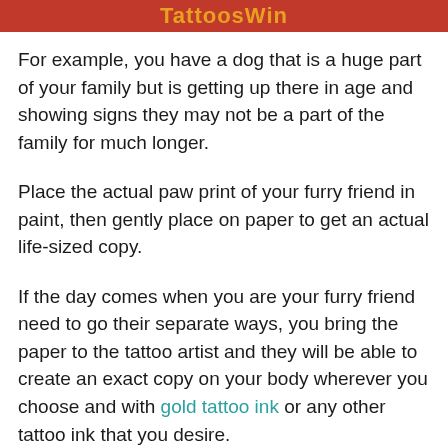TattoosWin
For example, you have a dog that is a huge part of your family but is getting up there in age and showing signs they may not be a part of the family for much longer.
Place the actual paw print of your furry friend in paint, then gently place on paper to get an actual life-sized copy.
If the day comes when you are your furry friend need to go their separate ways, you bring the paper to the tattoo artist and they will be able to create an exact copy on your body wherever you choose and with gold tattoo ink or any other tattoo ink that you desire.
You can also have...